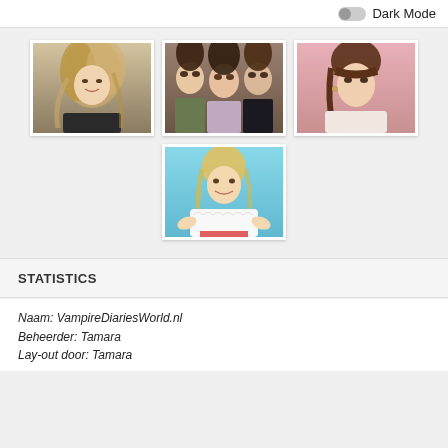Dark Mode
[Figure (photo): Three photos of women arranged in a grid: a blonde woman (left), three brunette women together (center top), a woman with brown hair (right top), and a blonde woman in a white lace top (center bottom)]
STATISTICS
Naam: VampireDiariesWorld.nl
Beheerder: Tamara
Lay-out door: Tamara